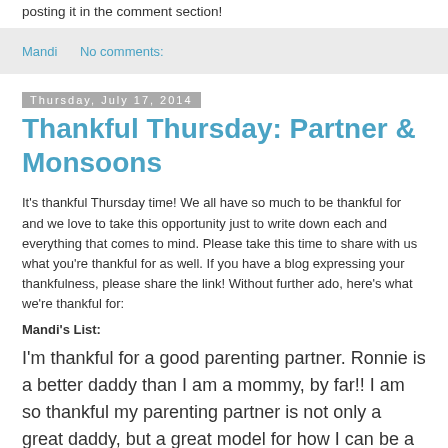posting it in the comment section!
Mandi   No comments:
Thursday, July 17, 2014
Thankful Thursday: Partner & Monsoons
It's thankful Thursday time! We all have so much to be thankful for and we love to take this opportunity just to write down each and everything that comes to mind. Please take this time to share with us what you're thankful for as well. If you have a blog expressing your thankfulness, please share the link! Without further ado, here's what we're thankful for:
Mandi's List:
I'm thankful for a good parenting partner. Ronnie is a better daddy than I am a mommy, by far!! I am so thankful my parenting partner is not only a great daddy, but a great model for how I can be a better mommy.